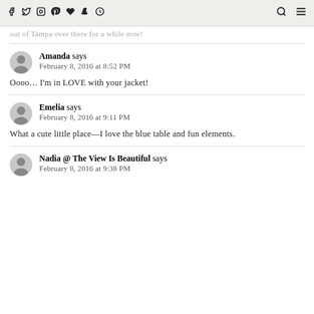Social media navigation icons and search/menu buttons
out of Tampa over there for a while now!
Amanda says
February 8, 2016 at 8:52 PM
Oooo… I'm in LOVE with your jacket!
Emelia says
February 8, 2016 at 9:11 PM
What a cute little place—I love the blue table and fun elements.
Nadia @ The View Is Beautiful says
February 8, 2016 at 9:38 PM